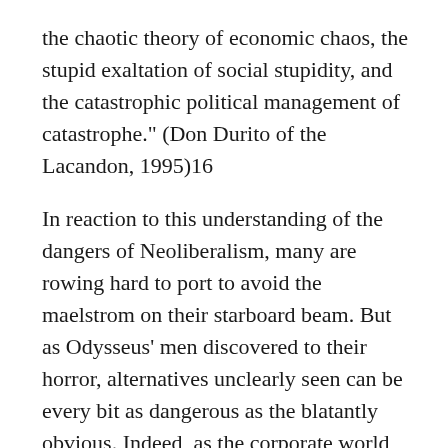the chaotic theory of economic chaos, the stupid exaltation of social stupidity, and the catastrophic political management of catastrophe." (Don Durito of the Lacandon, 1995)16
In reaction to this understanding of the dangers of Neoliberalism, many are rowing hard to port to avoid the maelstrom on their starboard beam. But as Odysseus' men discovered to their horror, alternatives unclearly seen can be every bit as dangerous as the blatantly obvious. Indeed, as the corporate world moved rapidly in the late 1980s and early 1990s to adopt "sustainable development" as its own banner, the monster in the mist was growing new heads with frightening rapidity.
Fortunately, with time, study and experience the